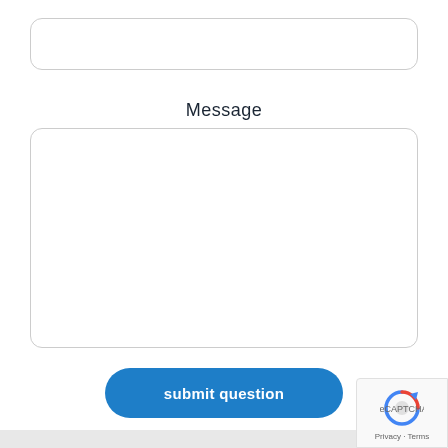[Figure (screenshot): Empty text input field with rounded border]
Message
[Figure (screenshot): Large empty textarea field with rounded border for message input]
submit question
[Figure (screenshot): reCAPTCHA badge with logo and Privacy - Terms text]